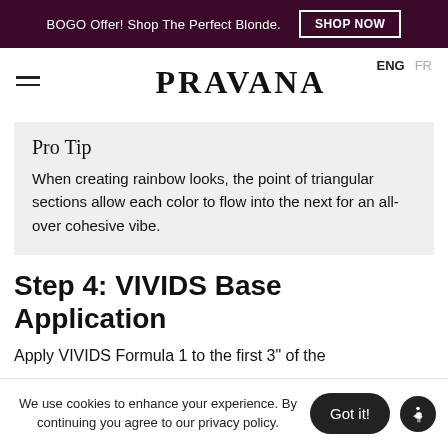BOGO Offer! Shop The Perfect Blonde. SHOP NOW
ENG  FR  PRAVANA
Pro Tip
When creating rainbow looks, the point of triangular sections allow each color to flow into the next for an all-over cohesive vibe.
Step 4: VIVIDS Base Application
Apply VIVIDS Formula 1 to the first 3" of the
We use cookies to enhance your experience. By continuing you agree to our privacy policy.
Got it!